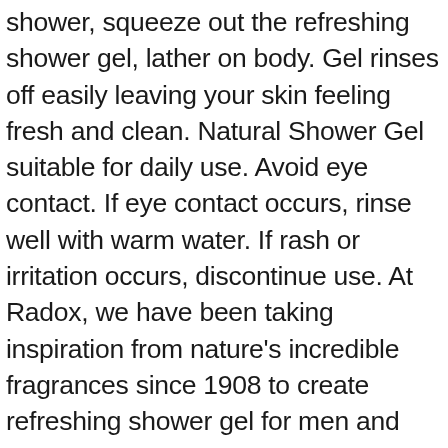shower, squeeze out the refreshing shower gel, lather on body. Gel rinses off easily leaving your skin feeling fresh and clean. Natural Shower Gel suitable for daily use. Avoid eye contact. If eye contact occurs, rinse well with warm water. If rash or irritation occurs, discontinue use. At Radox, we have been taking inspiration from nature's incredible fragrances since 1908 to create refreshing shower gel for men and inspiring shower gel for women. We then capture their transformative effects with one goal in mind: to help people get in the mood they want to be in. Smell is not only one of the most important senses, but one of the most overlooked. Fragrance has the power to lift you when you're down, to awaken you when you rise, to make us sleep, love, create, dream. It has the power to genuinely transform how you feel. In fact, there's hardly